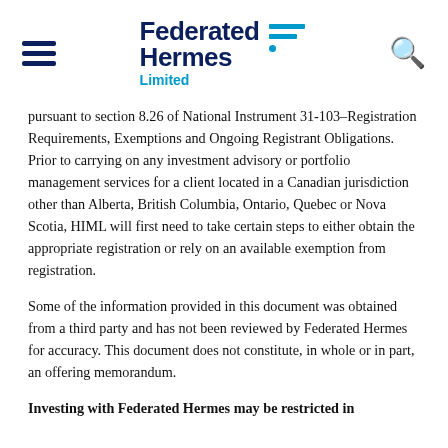Federated Hermes Limited
pursuant to section 8.26 of National Instrument 31-103–Registration Requirements, Exemptions and Ongoing Registrant Obligations. Prior to carrying on any investment advisory or portfolio management services for a client located in a Canadian jurisdiction other than Alberta, British Columbia, Ontario, Quebec or Nova Scotia, HIML will first need to take certain steps to either obtain the appropriate registration or rely on an available exemption from registration.
Some of the information provided in this document was obtained from a third party and has not been reviewed by Federated Hermes for accuracy. This document does not constitute, in whole or in part, an offering memorandum.
Investing with Federated Hermes may be restricted in